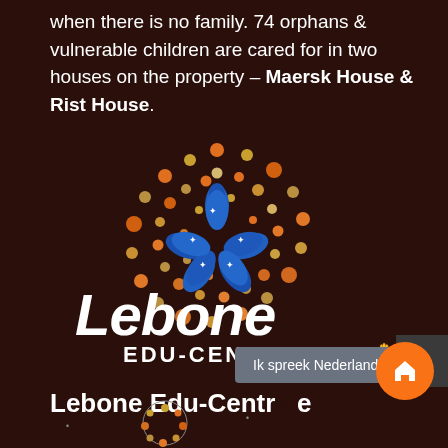when there is no family. 74 orphans & vulnerable children are cared for in two houses on the property – Maersk House & Rist House.
[Figure (logo): Lebone Edu-Centre logo: circular arrangement of colorful dots (orange, gold, beige) surrounding blue hand figures reaching inward, with white text 'Lebone' in stylized script and 'EDU-CENTRE' in bold capitals below]
Lebone Edu-Centre